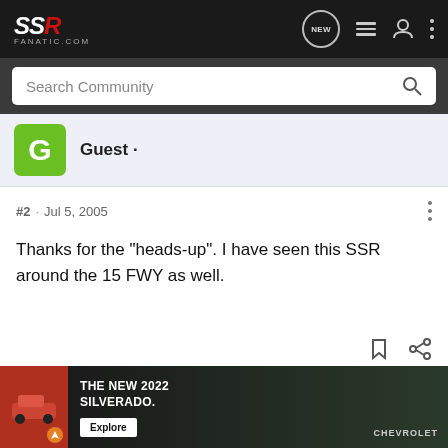SSR FANATIC.COM — navigation bar with NEW, list, user, and menu icons
Search Community
Guest ·
#2 · Jul 5, 2005
Thanks for the "heads-up". I have seen this SSR around the 15 FWY as well.
[Figure (screenshot): Ad banner: THE NEW 2022 SILVERADO. Explore button. Chevrolet logo with truck image.]